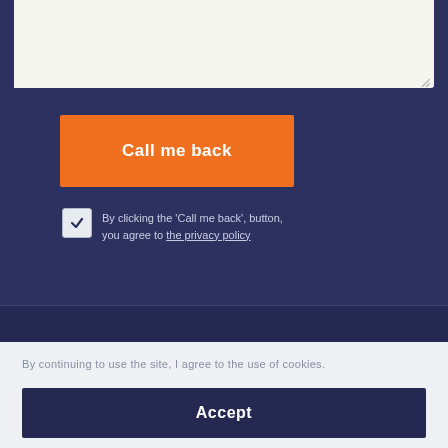[Figure (screenshot): Text area input field with light beige background, partially visible at top of dark navy section]
Call me back
By clicking the 'Call me back', button, you agree to the privacy policy
By continuing to use the site, I agree to the use of cookies.
Accept